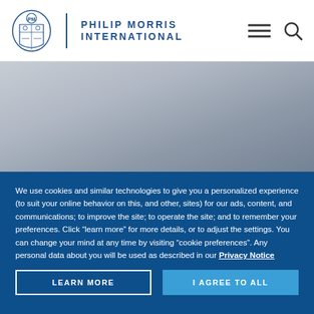[Figure (logo): Philip Morris International logo with crest and brand name in blue]
[Figure (photo): Hero image area with gray gradient background]
We use cookies and similar technologies to give you a personalized experience (to suit your online behavior on this, and other, sites) for our ads, content, and communications; to improve the site; to operate the site; and to remember your preferences. Click “learn more” for more details, or to adjust the settings. You can change your mind at any time by visiting “cookie preferences”. Any personal data about you will be used as described in our Privacy Notice
LEARN MORE
I AGREE TO ALL